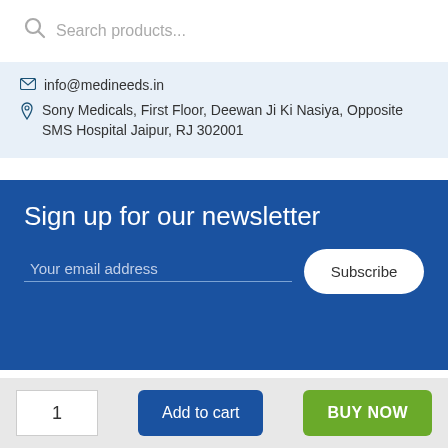Search products...
info@medineeds.in
Sony Medicals, First Floor, Deewan Ji Ki Nasiya, Opposite SMS Hospital Jaipur, RJ 302001
Sign up for our newsletter
Your email address
Subscribe
Medineeds © 2022 . All Rights Reserved. Developed By Webseek
WhatsApp us
1
Add to cart
BUY NOW